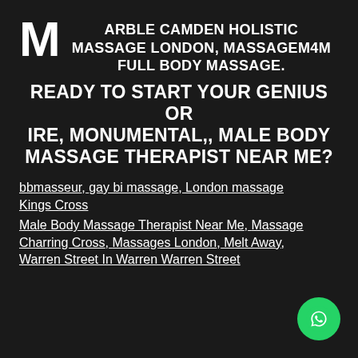M ARBLE CAMDEN HOLISTIC MASSAGE LONDON, MASSAGEM4M FULL BODY MASSAGE.
READY TO START YOUR GENIUS OR IRE, MONUMENTAL,, MALE BODY MASSAGE THERAPIST NEAR ME?
bbmasseur, gay bi massage, London massage Kings Cross
Male Body Massage Therapist Near Me, Massage Charring Cross, Massages London, Melt Away, Warren Street In Warren Warren Street
[Figure (logo): WhatsApp button — green circle with white phone/chat icon]